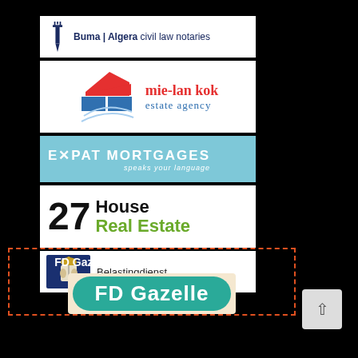[Figure (logo): Buma | Algera civil law notaries logo with a stylized pen/crown icon in navy blue]
[Figure (logo): mie-lan kok estate agency logo with a red and blue abstract house graphic]
[Figure (logo): Expat Mortgages logo in teal/light blue background with italic tagline 'speaks your language']
[Figure (logo): 27 House Real Estate logo with large black 27 and green 'Real Estate' text]
[Figure (logo): Belastingdienst logo with Dutch tax authority crest on navy blue background]
FD Gazelle award 2019, 2020 & 2021!
[Figure (logo): FD Gazelle award logo in teal rounded rectangle]